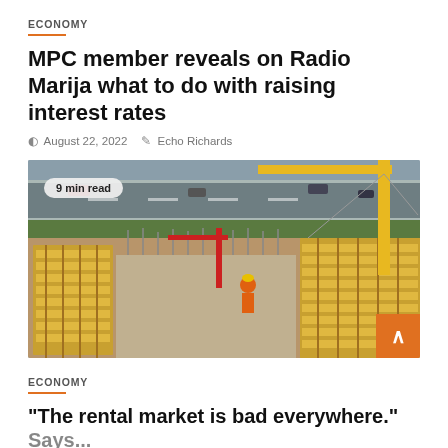ECONOMY
MPC member reveals on Radio Marija what to do with raising interest rates
August 22, 2022   Echo Richards
[Figure (photo): Aerial view of a construction site with yellow scaffolding and a crane, adjacent to a highway. A worker in orange hi-vis gear is visible. Badge reading '9 min read' overlaid on top-left corner.]
ECONOMY
"The rental market is bad everywhere."